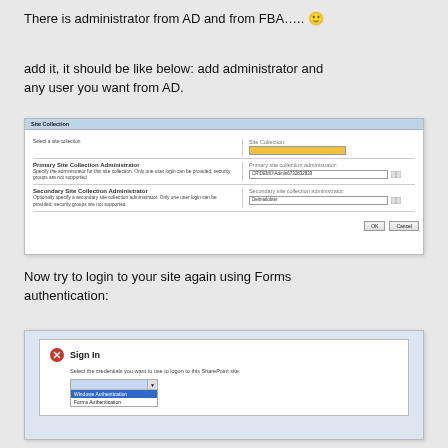There is administrator from AD and from FBA….. 🙂
add it, it should be like below: add administrator and any user you want from AD.
[Figure (screenshot): SharePoint Site Collection Administrator dialog showing Primary and Secondary site collection administrator fields with AD user entries and OK/Cancel buttons.]
Now try to login to your site again using Forms authentication:
[Figure (screenshot): SharePoint Sign In dialog showing credential selector dropdown with Windows Authentication and Forms Authentication options.]